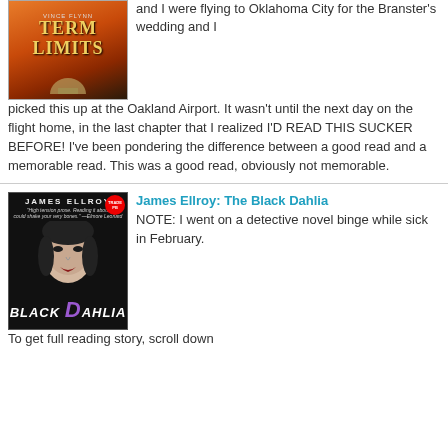[Figure (photo): Cover of 'Term Limits' book with orange/red background and Capitol dome]
and I were flying to Oklahoma City for the Branster's wedding and I picked this up at the Oakland Airport. It wasn't until the next day on the flight home, in the last chapter that I realized I'D READ THIS SUCKER BEFORE! I've been pondering the difference between a good read and a memorable read. This was a good read, obviously not memorable.
[Figure (photo): Cover of 'The Black Dahlia' by James Ellroy, dark cover with woman's face and purple D letter]
James Ellroy: The Black Dahlia
NOTE: I went on a detective novel binge while sick in February. To get full reading story, scroll down